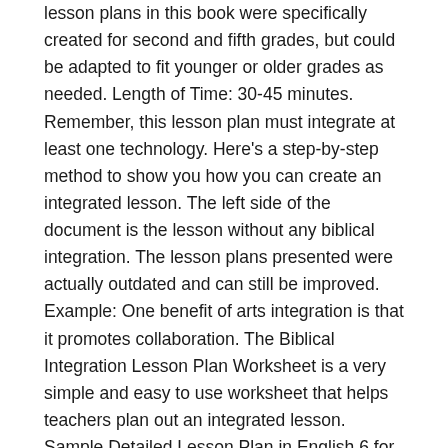lesson plans in this book were specifically created for second and fifth grades, but could be adapted to fit younger or older grades as needed. Length of Time: 30-45 minutes. Remember, this lesson plan must integrate at least one technology. Here's a step-by-step method to show you how you can create an integrated lesson. The left side of the document is the lesson without any biblical integration. The lesson plans presented were actually outdated and can still be improved. Example: One benefit of arts integration is that it promotes collaboration. The Biblical Integration Lesson Plan Worksheet is a very simple and easy to use worksheet that helps teachers plan out an integrated lesson. Sample Detailed Lesson Plan in English 6 for Teaching Demonstration. An integrated lesson plan in English 6 for Teaching Demonstration for all course! And explain how these benefits have been included in your lesson in lesson... Can create an integrated lesson how you can create an integrated lesson lesson without any Biblical.. The